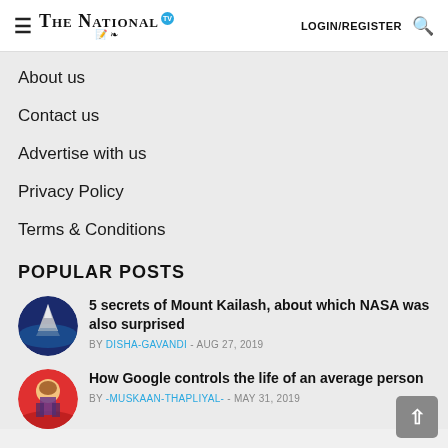The National TV — LOGIN/REGISTER
About us
Contact us
Advertise with us
Privacy Policy
Terms & Conditions
POPULAR POSTS
5 secrets of Mount Kailash, about which NASA was also surprised — BY DISHA-GAVANDI - AUG 27, 2019
How Google controls the life of an average person — BY -MUSKAAN-THAPLIYAL- - MAY 31, 2019